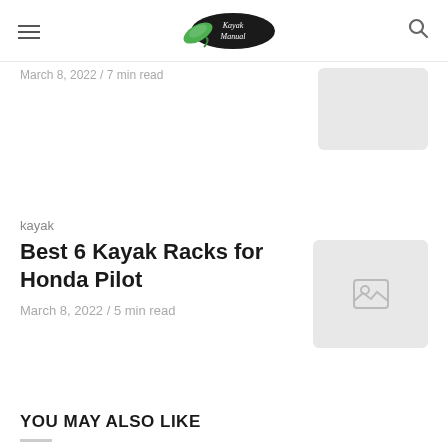Kayak Manual
March 8, 2022 / 7 min read
kayak
Best 6 Kayak Racks for Honda Pilot
March 8, 2022 / 5 min read
YOU MAY ALSO LIKE